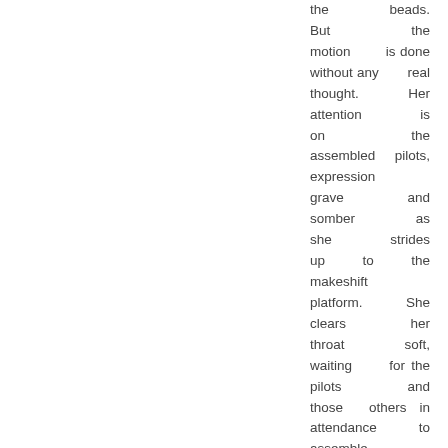the beads. But the motion is done without any real thought. Her attention is on the assembled pilots, expression grave and somber as she strides up to the makeshift platform. She clears her throat soft, waiting for the pilots and those others in attendance to assemble